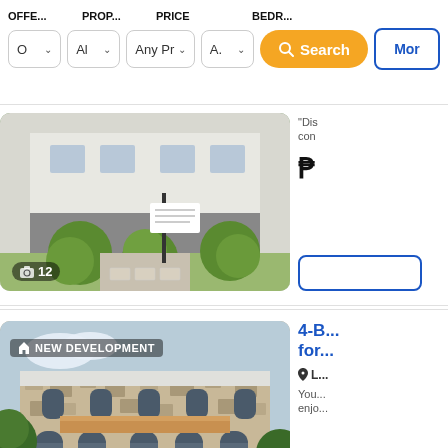OFFE... PROP... PRICE BEDR... | O dropdown | Al dropdown | Any Price dropdown | A dropdown | Search | More
[Figure (screenshot): Property listing photo showing a house with well-trimmed round bushes and a paved driveway. Photo count badge shows camera icon and 12.]
"Dis... con...
₱
[Figure (screenshot): Second property listing photo of a stone/stucco two-story house with arched windows and doorway, labeled NEW DEVELOPMENT.]
4-B... for...
📍 L...
You... enjo...
₱